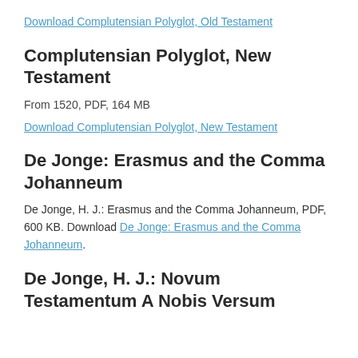Download Complutensian Polyglot, Old Testament
Complutensian Polyglot, New Testament
From 1520, PDF, 164 MB
Download Complutensian Polyglot, New Testament
De Jonge: Erasmus and the Comma Johanneum
De Jonge, H. J.: Erasmus and the Comma Johanneum, PDF, 600 KB. Download De Jonge: Erasmus and the Comma Johanneum.
De Jonge, H. J.: Novum Testamentum A Nobis Versum